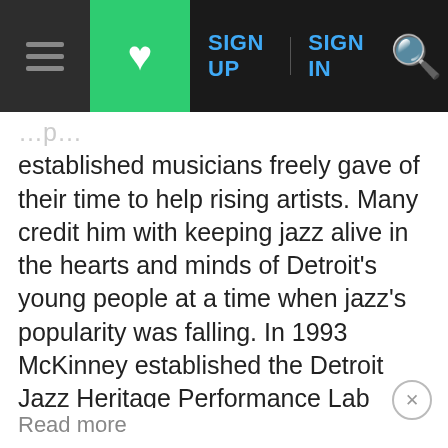SIGN UP  SIGN IN
established musicians freely gave of their time to help rising artists. Many credit him with keeping jazz alive in the hearts and minds of Detroit's young people at a time when jazz's popularity was falling. In 1993 McKinney established the Detroit Jazz Heritage Performance Lab Workshop. Every Thursday, young musicians came to Detroit's SereNgeti Ballroom to work on their music and learn from McKinney and other established performers. McKinney's daughter, Gayelynn McKinney, a pianist, has maintained the workshop after his death. McKinney also taught music workshops in the public schools and in community arts programs. His legacy will also live on in his family, many of whom have been musically active.
Read more